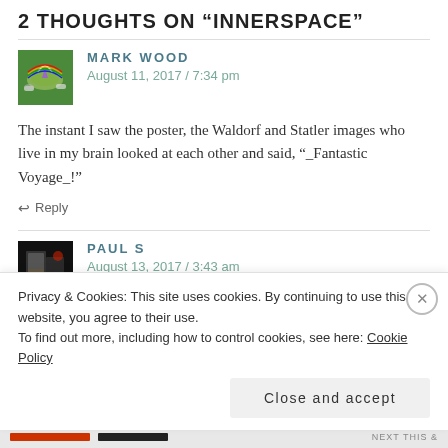2 THOUGHTS ON "INNERSPACE"
MARK WOOD
August 11, 2017 / 7:34 pm
The instant I saw the poster, the Waldorf and Statler images who live in my brain looked at each other and said, "_Fantastic Voyage_!"
↩ Reply
PAUL S
August 13, 2017 / 3:43 am
I've got fond memories of Innerspace. I first watched it as a teenager
Privacy & Cookies: This site uses cookies. By continuing to use this website, you agree to their use.
To find out more, including how to control cookies, see here: Cookie Policy
Close and accept